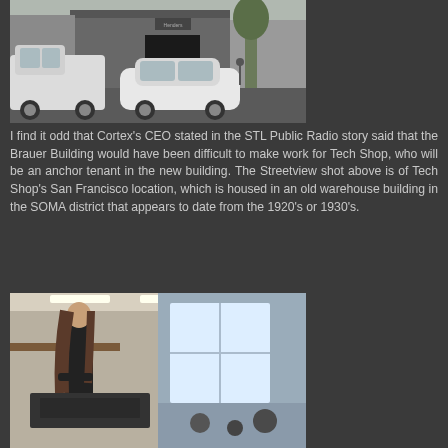[Figure (photo): Street view photo of a building exterior with a white Prius and a white pickup truck parked in front. The building has a dark entrance and trees visible on the right side.]
I find it odd that Cortex's CEO stated in the STL Public Radio story said that the Brauer Building would have been difficult to make work for Tech Shop, who will be an anchor tenant in the new building. The Streetview shot above is of Tech Shop's San Francisco location, which is housed in an old warehouse building in the SOMA district that appears to date from the 1920's or 1930's.
[Figure (photo): Photo of a woman with long brown hair wearing a black outfit, working at what appears to be a laser cutter or engraving machine in a workshop/makerspace environment. A second image shows a bright window in a warehouse-style space.]